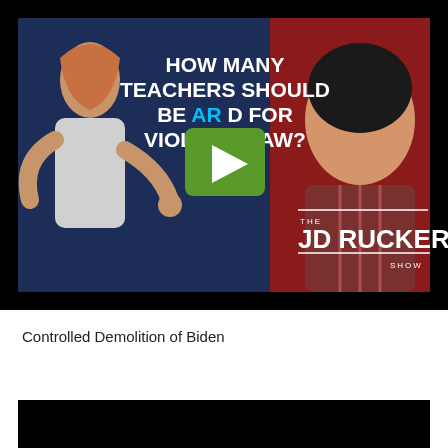[Figure (screenshot): Video thumbnail for JD Rucker Show. Shows a woman on the left gesturing, bold white text reading 'HOW MANY TEACHERS SHOULD BE ARRESTED FOR VIOLATING LAW?' with 'ARRESTED' partially obscured by a green play button. A man (Asian) is on the right side. Bottom right shows 'THE JD RUCKER SHOW' branding. Background is dark blue and red.]
Controlled Demolition of Biden
[Figure (screenshot): Partial black video thumbnail at the bottom of the page, content not visible.]